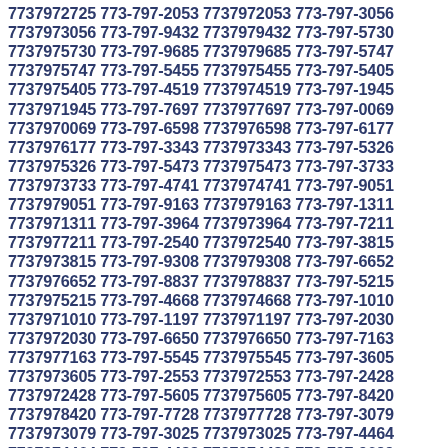7737972725 773-797-2053 7737972053 773-797-3056 7737973056 773-797-9432 7737979432 773-797-5730 7737975730 773-797-9685 7737979685 773-797-5747 7737975747 773-797-5455 7737975455 773-797-5405 7737975405 773-797-4519 7737974519 773-797-1945 7737971945 773-797-7697 7737977697 773-797-0069 7737970069 773-797-6598 7737976598 773-797-6177 7737976177 773-797-3343 7737973343 773-797-5326 7737975326 773-797-5473 7737975473 773-797-3733 7737973733 773-797-4741 7737974741 773-797-9051 7737979051 773-797-9163 7737979163 773-797-1311 7737971311 773-797-3964 7737973964 773-797-7211 7737977211 773-797-2540 7737972540 773-797-3815 7737973815 773-797-9308 7737979308 773-797-6652 7737976652 773-797-8837 7737978837 773-797-5215 7737975215 773-797-4668 7737974668 773-797-1010 7737971010 773-797-1197 7737971197 773-797-2030 7737972030 773-797-6650 7737976650 773-797-7163 7737977163 773-797-5545 7737975545 773-797-3605 7737973605 773-797-2553 7737972553 773-797-2428 7737972428 773-797-5605 7737975605 773-797-8420 7737978420 773-797-7728 7737977728 773-797-3079 7737973079 773-797-3025 7737973025 773-797-4464 7737974464 773-797-4488 7737974488 773-797-9629 7737979629 773-797-8139 7737978139 773-797-0071